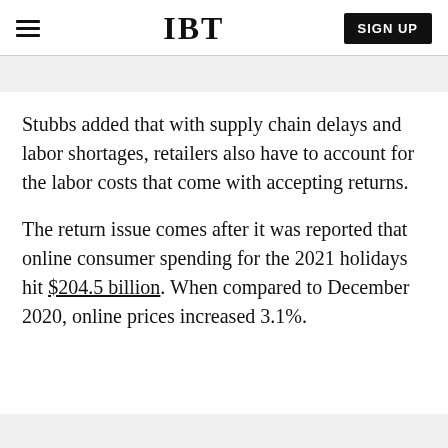IBT | SIGN UP
Stubbs added that with supply chain delays and labor shortages, retailers also have to account for the labor costs that come with accepting returns.
The return issue comes after it was reported that online consumer spending for the 2021 holidays hit $204.5 billion. When compared to December 2020, online prices increased 3.1%.